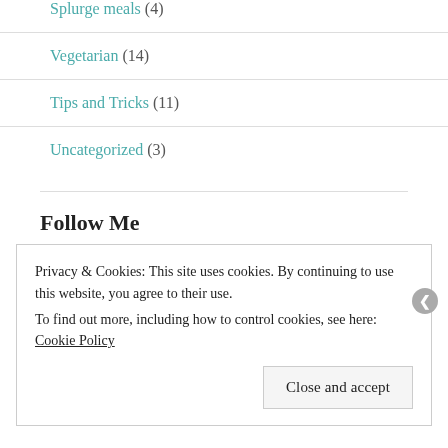Splurge meals (4)
Vegetarian (14)
Tips and Tricks (11)
Uncategorized (3)
Follow Me
Receive updates of new posts by email.
Privacy & Cookies: This site uses cookies. By continuing to use this website, you agree to their use.
To find out more, including how to control cookies, see here: Cookie Policy
Close and accept